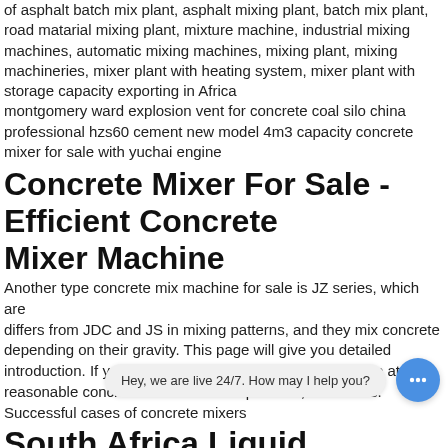of asphalt batch mix plant, asphalt mixing plant, batch mix plant, road matarial mixing plant, mixture machine, industrial mixing machines, automatic mixing machines, mixing plant, mixing machineries, mixer plant with heating system, mixer plant with storage capacity exporting in Africa
montgomery ward explosion vent for concrete coal silo china professional hzs60 cement new model 4m3 capacity concrete mixer for sale with yuchai engine
Concrete Mixer For Sale - Efficient Concrete Mixer Machine
Another type concrete mix machine for sale is JZ series, which are differs from JDC and JS in mixing patterns, and they mix concrete depending on their gravity. This page will give you detailed introduction. If you want to buy concrete mixture machine at a reasonable concrete mixer machine price list, contact us.
Successful cases of concrete mixers
South Africa Liquid Mercury, South African Liquid Mercury
Made in South Africa Liquid Mercury Directory - Offering